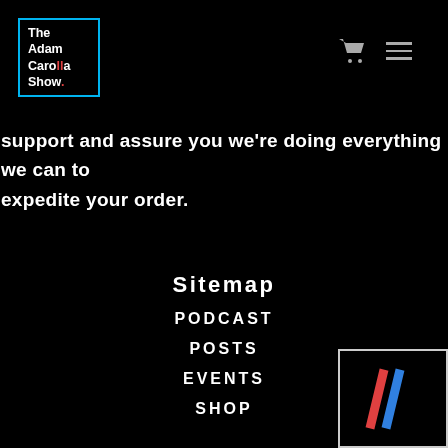[Figure (logo): The Adam Carolla Show logo in a blue-bordered box]
support and assure you we're doing everything we can to expedite your order.
Sitemap
PODCAST
POSTS
EVENTS
SHOP
DRINKS
CAROLLA FAMILY
CONTACT
[Figure (logo): Two diagonal parallel lines logo in red and blue on black background with white border]